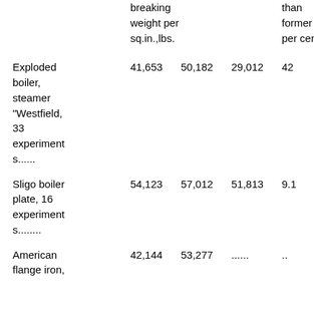|  | breaking weight per sq.in.,lbs. |  |  | than former per cent. |
| --- | --- | --- | --- | --- |
| Exploded boiler, steamer "Westfield, 33 experiments...... | 41,653 | 50,182 | 29,012 | 42 |
| Sligo boiler plate, 16 experiments........ | 54,123 | 57,012 | 51,813 | 9.1 |
| American flange iron, | 42,144 | 53,277 | ...... | .. |